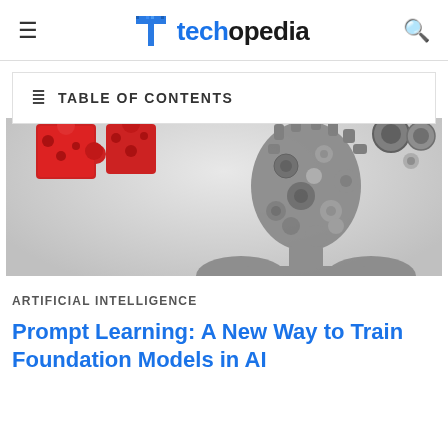techopedia
TABLE OF CONTENTS
[Figure (illustration): Illustration showing a human head silhouette made of grey interlocking gears with red puzzle pieces on the left, representing artificial intelligence and machine learning concepts, on a light grey background.]
ARTIFICIAL INTELLIGENCE
Prompt Learning: A New Way to Train Foundation Models in AI